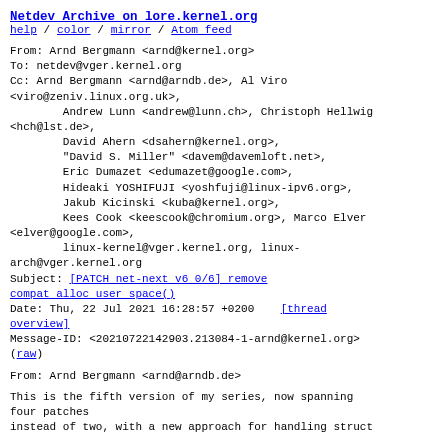Netdev Archive on lore.kernel.org
help / color / mirror / Atom feed
From: Arnd Bergmann <arnd@kernel.org>
To: netdev@vger.kernel.org
Cc: Arnd Bergmann <arnd@arndb.de>, Al Viro <viro@zeniv.linux.org.uk>,
        Andrew Lunn <andrew@lunn.ch>, Christoph Hellwig <hch@lst.de>,
        David Ahern <dsahern@kernel.org>,
        "David S. Miller" <davem@davemloft.net>,
        Eric Dumazet <edumazet@google.com>,
        Hideaki YOSHIFUJI <yoshfuji@linux-ipv6.org>,
        Jakub Kicinski <kuba@kernel.org>,
        Kees Cook <keescook@chromium.org>, Marco Elver <elver@google.com>,
        linux-kernel@vger.kernel.org, linux-arch@vger.kernel.org
Subject: [PATCH net-next v6 0/6] remove compat alloc user space()
Date: Thu, 22 Jul 2021 16:28:57 +0200   [thread overview]
Message-ID: <20210722142903.213084-1-arnd@kernel.org>
(raw)
From: Arnd Bergmann <arnd@arndb.de>
This is the fifth version of my series, now spanning four patches
instead of two, with a new approach for handling struct